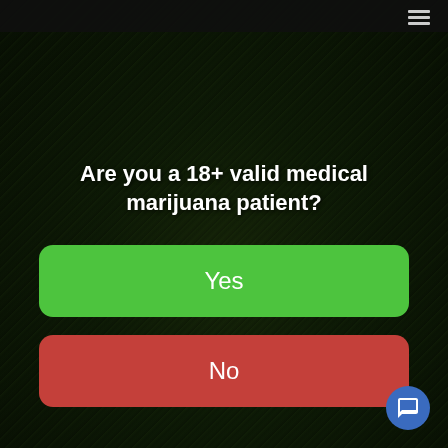Are you a 18+ valid medical marijuana patient?
Yes
No